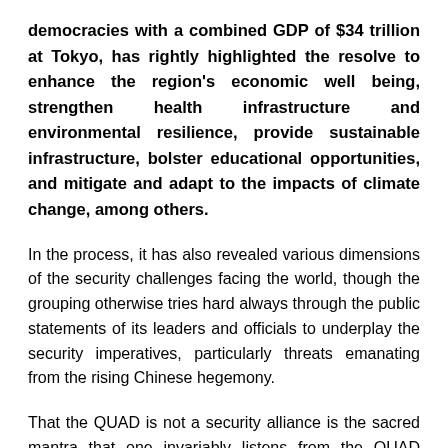democracies with a combined GDP of $34 trillion at Tokyo, has rightly highlighted the resolve to enhance the region's economic well being, strengthen health infrastructure and environmental resilience, provide sustainable infrastructure, bolster educational opportunities, and mitigate and adapt to the impacts of climate change, among others.
In the process, it has also revealed various dimensions of the security challenges facing the world, though the grouping otherwise tries hard always through the public statements of its leaders and officials to underplay the security imperatives, particularly threats emanating from the rising Chinese hegemony.
That the QUAD is not a security alliance is the sacred mantra that one invariably listens from the QUAD officials. But, the